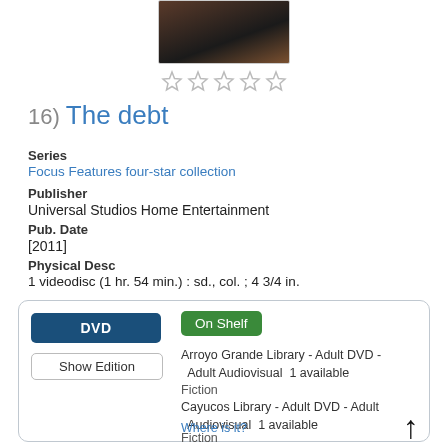[Figure (photo): Movie cover image thumbnail for The Debt]
[Figure (other): Five empty star rating icons]
16) The debt
Series
Focus Features four-star collection
Publisher
Universal Studios Home Entertainment
Pub. Date
[2011]
Physical Desc
1 videodisc (1 hr. 54 min.) : sd., col. ; 4 3/4 in.
DVD | On Shelf | Show Edition | Arroyo Grande Library - Adult DVD - Adult Audiovisual 1 available Fiction | Cayucos Library - Adult DVD - Adult Audiovisual 1 available Fiction | San Miguel Library - Adult DVL Adult Audiovisual 1 available Fiction | Where is it?